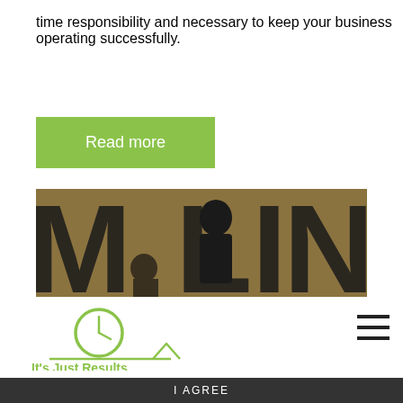time responsibility and necessary to keep your business operating successfully.
[Figure (other): Green 'Read more' button]
[Figure (photo): Photo of people in front of large dark letters on a golden/brown background, showing partial letters M, L, I, N]
[Figure (logo): It's Just Results logo — green clock icon with checkmark swoosh and green text 'It's Just Results']
[Figure (other): Hamburger menu icon (three horizontal lines)]
I AGREE